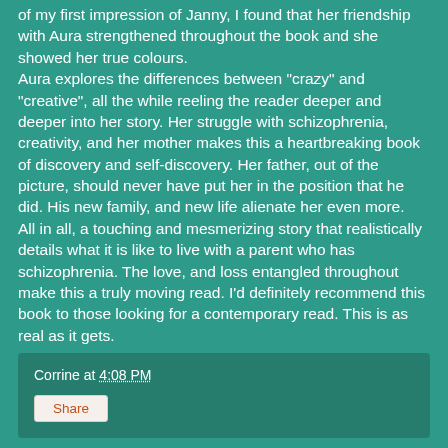of my first impression of Janny, I found that her friendship with Aura strengthened throughout the book and she showed her true colours.
Aura explores the differences between "crazy" and "creative", all the while reeling the reader deeper and deeper into her story. Her struggle with schizophrenia, creativity, and her mother makes this a heartbreaking book of discovery and self-discovery. Her father, out of the picture, should never have put her in the position that he did. His new family, and new life alienate her even more.
All in all, a touching and mesmerizing story that realistically details what it is like to live with a parent who has schizophrenia. The love, and loss entangled throughout make this a truly moving read. I'd definitely recommend this book to those looking for a contemporary read. This is as real as it gets.
Corrine at 4:08 PM
Share